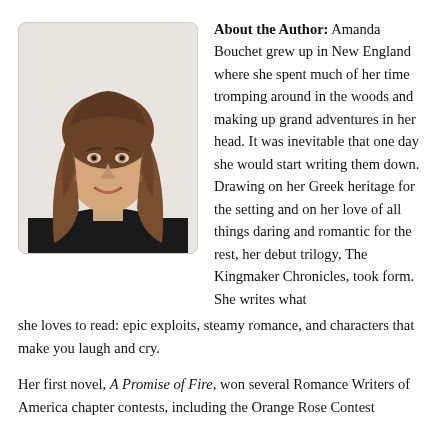[Figure (photo): Headshot of Amanda Bouchet, a woman with long brown hair, smiling, wearing a black top, against a light background.]
About the Author: Amanda Bouchet grew up in New England where she spent much of her time tromping around in the woods and making up grand adventures in her head. It was inevitable that one day she would start writing them down. Drawing on her Greek heritage for the setting and on her love of all things daring and romantic for the rest, her debut trilogy, The Kingmaker Chronicles, took form. She writes what she loves to read: epic exploits, steamy romance, and characters that make you laugh and cry.
Her first novel, A Promise of Fire, won several Romance Writers of America chapter contests, including the Orange Rose Contest